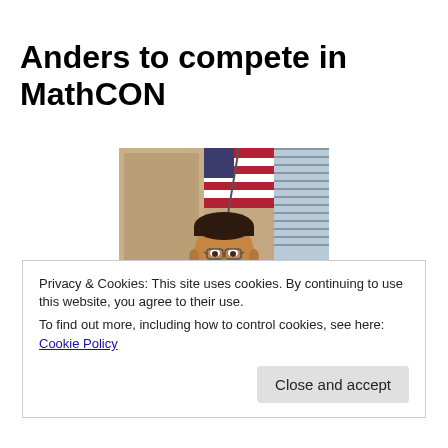Anders to compete in MathCON
[Figure (photo): A young teenage boy with glasses wearing a dark navy polo shirt, smiling, standing in front of an American flag and a window with blinds in an indoor setting.]
Privacy & Cookies: This site uses cookies. By continuing to use this website, you agree to their use.
To find out more, including how to control cookies, see here: Cookie Policy
Close and accept